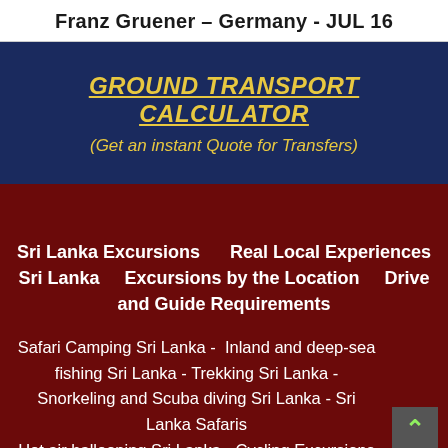Franz Gruener – Germany - JUL 16
GROUND TRANSPORT CALCULATOR
(Get an instant Quote for Transfers)
Sri Lanka Excursions    Real Local Experiences Sri Lanka    Excursions by the Location    Drive and Guide Requirements
Safari Camping Sri Lanka -  Inland and deep-sea fishing Sri Lanka - Trekking Sri Lanka - Snorkeling and Scuba diving Sri Lanka - Sri Lanka Safaris
Hot air ballooning Sri Lanka - Cycling Excursions S...